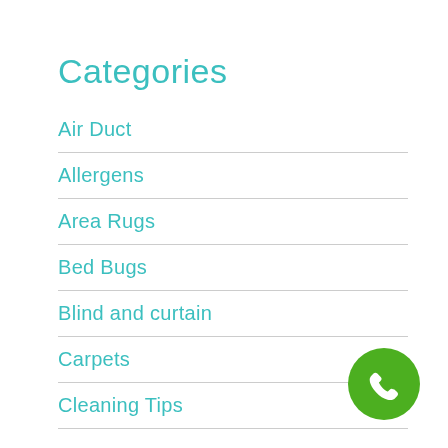Categories
Air Duct
Allergens
Area Rugs
Bed Bugs
Blind and curtain
Carpets
Cleaning Tips